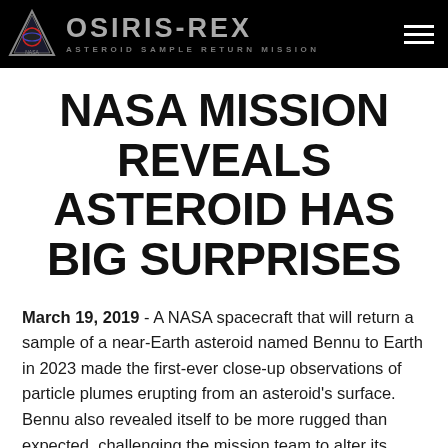OSIRIS-REx ASTEROID SAMPLE RETURN MISSION
NASA MISSION REVEALS ASTEROID HAS BIG SURPRISES
March 19, 2019 - A NASA spacecraft that will return a sample of a near-Earth asteroid named Bennu to Earth in 2023 made the first-ever close-up observations of particle plumes erupting from an asteroid's surface. Bennu also revealed itself to be more rugged than expected, challenging the mission team to alter its flight and sample collection plans, due to the rough